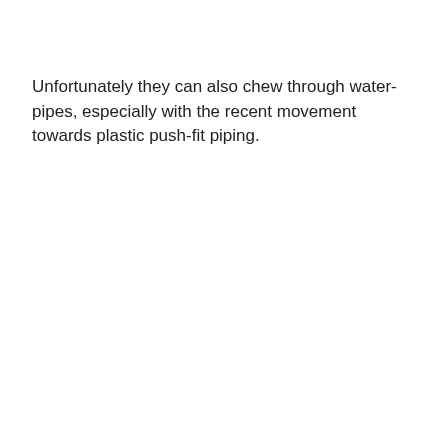Unfortunately they can also chew through water-pipes, especially with the recent movement towards plastic push-fit piping.